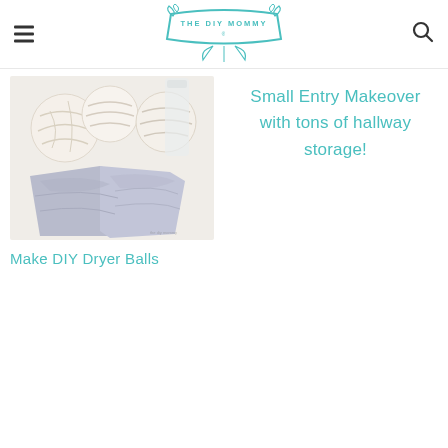[Figure (logo): The DIY Mommy logo — decorative banner with plant/leaf motifs in teal/mint color]
[Figure (photo): Overhead photo of white wool yarn balls and light blue/lavender fabric dryer balls on a white background]
Make DIY Dryer Balls
Small Entry Makeover with tons of hallway storage!